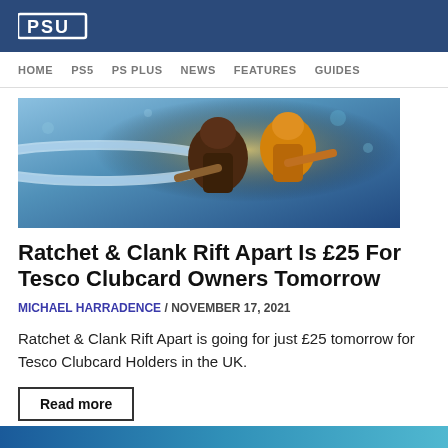PSU
HOME  PS5  PS PLUS  NEWS  FEATURES  GUIDES
[Figure (photo): Screenshot from Ratchet & Clank Rift Apart showing game characters with weapons in a colorful sci-fi environment]
Ratchet & Clank Rift Apart Is £25 For Tesco Clubcard Owners Tomorrow
MICHAEL HARRADENCE / NOVEMBER 17, 2021
Ratchet & Clank Rift Apart is going for just £25 tomorrow for Tesco Clubcard Holders in the UK.
Read more